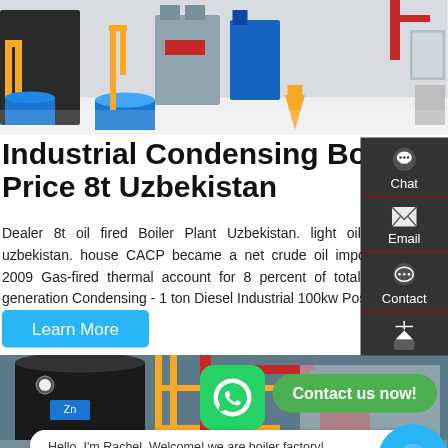[Figure (photo): Industrial boiler room with yellow piping, blue cylindrical bases, and machinery in a clean facility]
Industrial Condensing Boiler Price 8t Uzbekistan
Dealer 8t oil fired Boiler Plant Uzbekistan. light oil boiler in uzbekistan. house CACP became a net crude oil importer since 2009 Gas-fired thermal account for 8 percent of total electricity generation Condensing - 1 ton Diesel Industrial 100kw Posted on
Learn More
[Figure (photo): Industrial boiler facility with large cylindrical boiler tank, yellow scaffolding, and red infrastructure components]
Hello, I'm Rachel, Welcome! we are boiler factory!